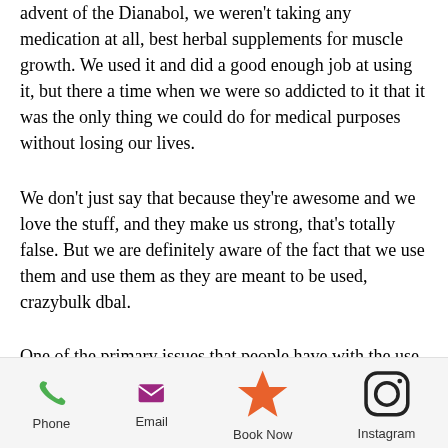advent of the Dianabol, we weren't taking any medication at all, best herbal supplements for muscle growth. We used it and did a good enough job at using it, but there a time when we were so addicted to it that it was the only thing we could do for medical purposes without losing our lives.
We don't just say that because they're awesome and we love the stuff, and they make us strong, that's totally false. But we are definitely aware of the fact that we use them and use them as they are meant to be used, crazybulk dbal.
One of the primary issues that people have with the use of Dianabol is that many women
Phone  Email  Book Now  Instagram